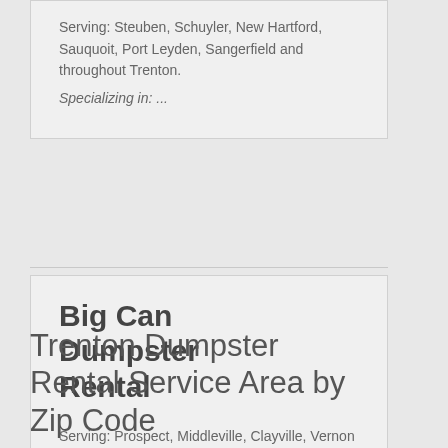Serving: Steuben, Schuyler, New Hartford, Sauquoit, Port Leyden, Sangerfield and throughout Trenton.
Specializing in: ...
Big Can Dumpster Rental
Serving: Prospect, Middleville, Clayville, Vernon Center and throughout Trenton.
Specializing in: ...
Trenton Dumpster Rental Service Area by Zip Code